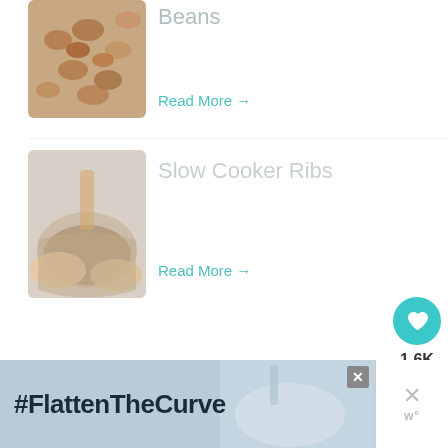[Figure (photo): Thumbnail photo of beans dish]
Beans
Read More →
[Figure (photo): Thumbnail photo of slow cooker ribs being prepared, hands pouring sauce]
Slow Cooker Ribs
Read More →
[Figure (infographic): Side button panel with heart icon showing 1.6K and share button]
[Figure (infographic): What's Next banner showing 25+ Fall Slow Cooker... with thumbnail]
[Figure (screenshot): #FlattenTheCurve advertisement banner with close button and W logo]